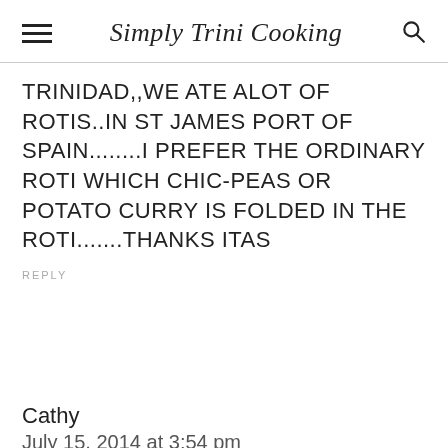Simply Trini Cooking
TRINIDAD,,WE ATE ALOT OF ROTIS..IN ST JAMES PORT OF SPAIN........I PREFER THE ORDINARY ROTI WHICH CHIC-PEAS OR POTATO CURRY IS FOLDED IN THE ROTI.......THANKS itas
REPLY
Cathy
July 15, 2014 at 3:54 pm